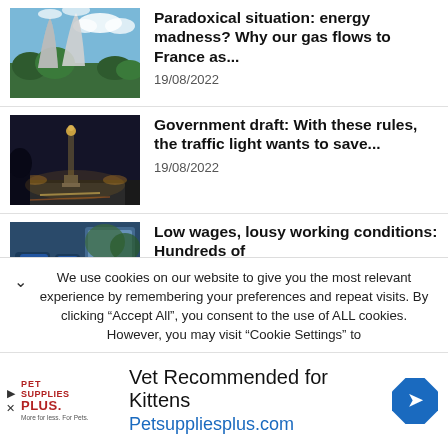[Figure (photo): Cooling towers of a power plant with trees and blue sky]
Paradoxical situation: energy madness? Why our gas flows to France as...
19/08/2022
[Figure (photo): Nighttime city street scene with illuminated monument in background]
Government draft: With these rules, the traffic light wants to save...
19/08/2022
[Figure (photo): Interior of a bus or tram with blue seats]
Low wages, lousy working conditions: Hundreds of
We use cookies on our website to give you the most relevant experience by remembering your preferences and repeat visits. By clicking "Accept All", you consent to the use of ALL cookies. However, you may visit "Cookie Settings" to
Vet Recommended for Kittens
Petsuppliesplus.com